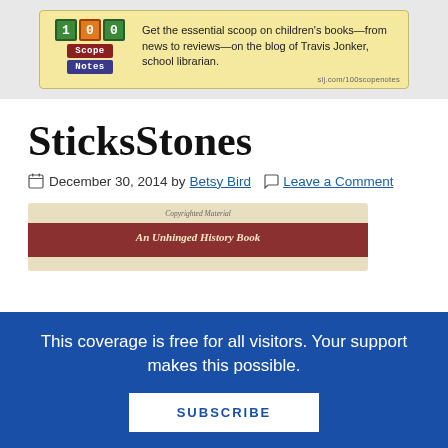[Figure (illustration): 100 Scope Notes blog advertisement banner with logo showing stylized blocks spelling '100', 'Scope', 'Notes' and text: 'Get the essential scoop on children's books—from news to reviews—on the blog of Travis Jonker, school librarian.' URL: slj.com/100scopenotes]
SticksStones
December 30, 2014 by Betsy Bird   Leave a Comment
[Figure (photo): Partial view of a book cover with red spine band reading 'An Unhinged History Book' and text above reading 'Copyrighted Material']
This coverage is free for all visitors. Your support makes this possible.
SUBSCRIBE